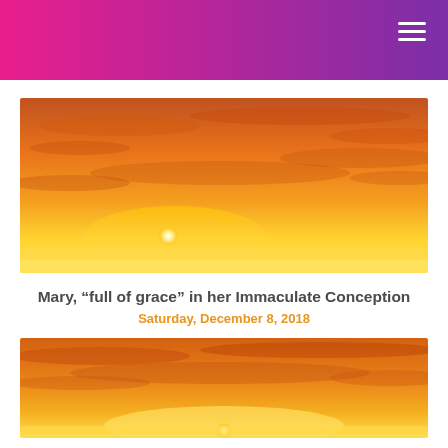[Figure (photo): Bright orange and yellow sunrise or sunset scene with the sun near the horizon, sky filled with glowing orange and golden clouds.]
Mary, “full of grace” in her Immaculate Conception
Saturday, December 8, 2018
[Figure (photo): Second sunrise/sunset photo with golden yellow sky and glowing clouds, similar warm orange tones.]